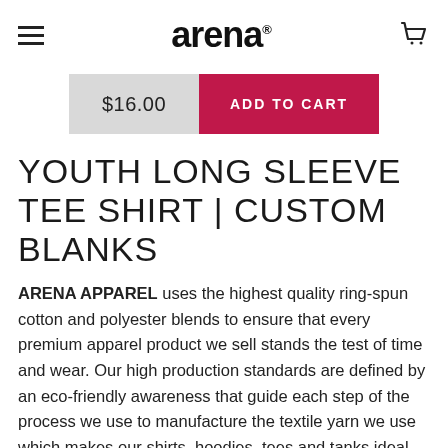arena
[Figure (other): Add to cart bar with price $16.00 and red ADD TO CART button]
YOUTH LONG SLEEVE TEE SHIRT | CUSTOM BLANKS
ARENA APPAREL uses the highest quality ring-spun cotton and polyester blends to ensure that every premium apparel product we sell stands the test of time and wear. Our high production standards are defined by an eco-friendly awareness that guide each step of the process we use to manufacture the textile yarn we use which makes our shirts, hoodies, tees and tanks ideal for printing, color